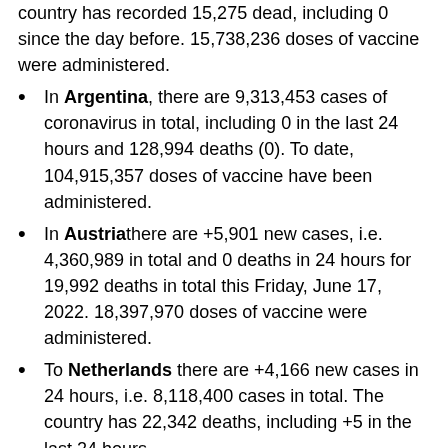country has recorded 15,275 dead, including 0 since the day before. 15,738,236 doses of vaccine were administered.
In Argentina, there are 9,313,453 cases of coronavirus in total, including 0 in the last 24 hours and 128,994 deaths (0). To date, 104,915,357 doses of vaccine have been administered.
In Austriathere are +5,901 new cases, i.e. 4,360,989 in total and 0 deaths in 24 hours for 19,992 deaths in total this Friday, June 17, 2022. 18,397,970 doses of vaccine were administered.
To Netherlands there are +4,166 new cases in 24 hours, i.e. 8,118,400 cases in total. The country has 22,342 deaths, including +5 in the last 24 hours.